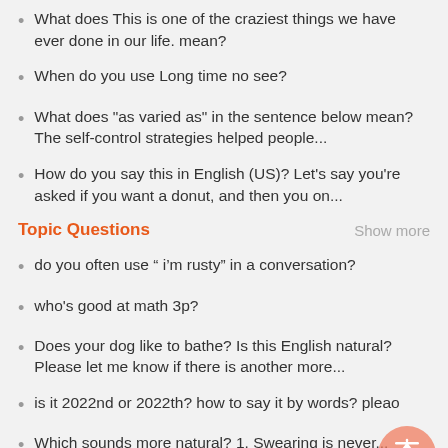What does This is one of the craziest things we have ever done in our life. mean?
When do you use Long time no see?
What does "as varied as" in the sentence below mean? The self-control strategies helped people...
How do you say this in English (US)? Let's say you're asked if you want a donut, and then you on...
Topic Questions
do you often use “ i’m rusty” in a conversation?
who's good at math 3p?
Does your dog like to bathe? Is this English natural? Please let me know if there is another more...
is it 2022nd or 2022th? how to say it by words? plea...o
Which sounds more natural? 1. Swearing is never... strong point. 2. Swearing is never my strong s...